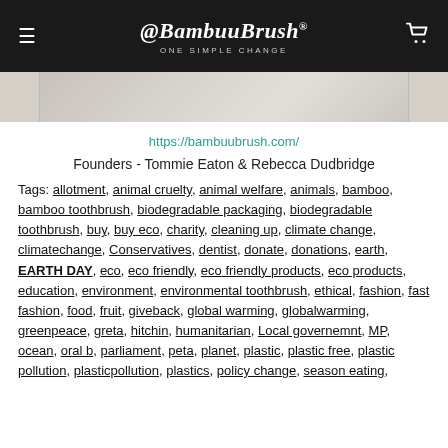@BambuuBrush® ONE SIMPLE CHANGE
[Figure (photo): Partial view of a product/lifestyle photo with light marble or stone background]
https://bambuubrush.com/
Founders - Tommie Eaton & Rebecca Dudbridge
Tags: allotment, animal cruelty, animal welfare, animals, bamboo, bamboo toothbrush, biodegradable packaging, biodegradable toothbrush, buy, buy eco, charity, cleaning up, climate change, climatechange, Conservatives, dentist, donate, donations, earth, EARTH DAY, eco, eco friendly, eco friendly products, eco products, education, environment, environmental toothbrush, ethical, fashion, fast fashion, food, fruit, giveback, global warming, globalwarming, greenpeace, greta, hitchin, humanitarian, Local governemnt, MP, ocean, oral b, parliament, peta, planet, plastic, plastic free, plastic pollution, plasticpollution, plastics, policy change, season eating,